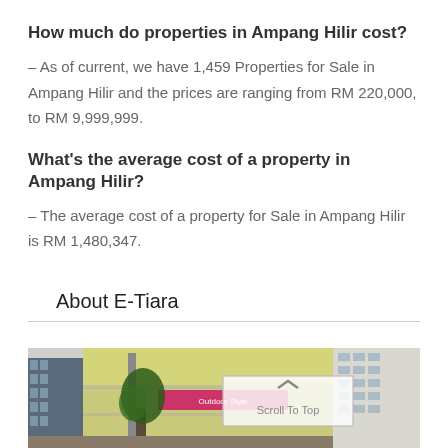How much do properties in Ampang Hilir cost?
– As of current, we have 1,459 Properties for Sale in Ampang Hilir and the prices are ranging from RM 220,000, to RM 9,999,999.
What's the average cost of a property in Ampang Hilir?
– The average cost of a property for Sale in Ampang Hilir is RM 1,480,347.
About E-Tiara
[Figure (photo): Street-level photo of E-Tiara building area with trees, yellow building facade, and adjacent multi-storey building. A 'Scroll To Top' overlay button is visible in the center.]